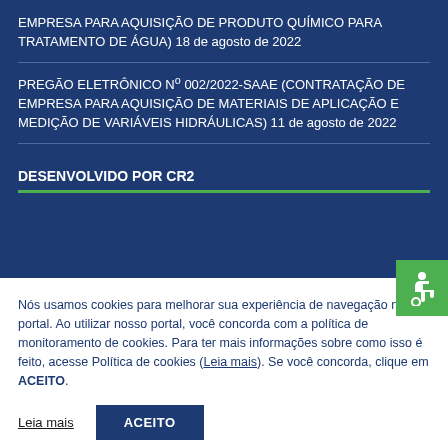EMPRESA PARA AQUISIÇÃO DE PRODUTO QUÍMICO PARA TRATAMENTO DE ÁGUA) 18 de agosto de 2022
PREGÃO ELETRÔNICO Nº 002/2022-SAAE (CONTRATAÇÃO DE EMPRESA PARA AQUISIÇÃO DE MATERIAIS DE APLICAÇÃO E MEDIÇÃO DE VARIÁVEIS HIDRÁULICAS) 11 de agosto de 2022
DESENVOLVIDO POR CR2
Nós usamos cookies para melhorar sua experiência de navegação no portal. Ao utilizar nosso portal, você concorda com a política de monitoramento de cookies. Para ter mais informações sobre como isso é feito, acesse Política de cookies (Leia mais). Se você concorda, clique em ACEITO.